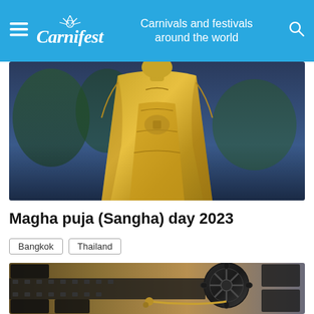Carnifest — Carnivals and festivals around the world
[Figure (photo): Golden Buddha statue in robes photographed against a blurred outdoor background at dusk]
Magha puja (Sangha) day 2023
Bangkok
Thailand
[Figure (illustration): Film reel and filmstrip graphic illustration with dark and golden tones, depicting cinema/film festival imagery]